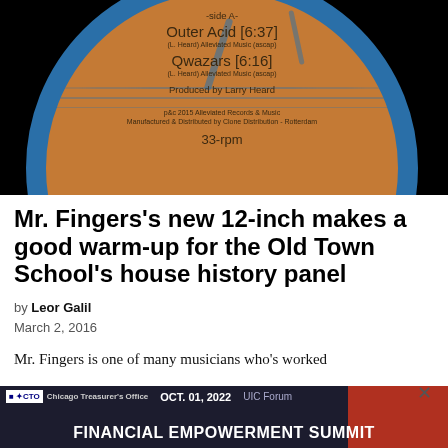[Figure (photo): Close-up of a vinyl record label. Orange/brown label with blue border. Side A listing: Outer Acid [6:37] (L. Heard) Alleviated Music (ascap), Qwazars [6:16] (L. Heard) Alleviated Music (ascap), Produced by Larry Heard, p&c 2015 Alleviated Records & Music, Manufactured & Distributed by Clone Distribution - Rotterdam, 33-rpm.]
Mr. Fingers's new 12-inch makes a good warm-up for the Old Town School's house history panel
by Leor Galil
March 2, 2016
Mr. Fingers is one of many musicians who's worked
[Figure (screenshot): Advertisement banner for CTO Chicago Treasurer's Office Financial Empowerment Summit, OCT. 01, 2022, UIC Forum.]